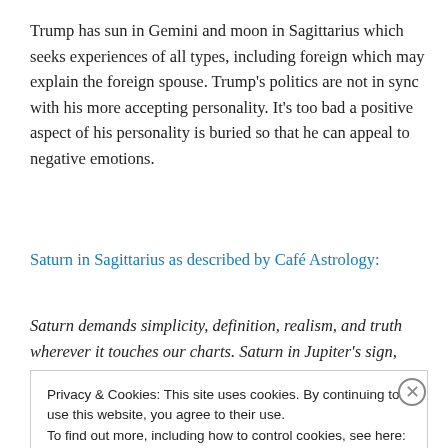Trump has sun in Gemini and moon in Sagittarius which seeks experiences of all types, including foreign which may explain the foreign spouse. Trump's politics are not in sync with his more accepting personality. It's too bad a positive aspect of his personality is buried so that he can appeal to negative emotions.
Saturn in Sagittarius as described by Café Astrology:
Saturn demands simplicity, definition, realism, and truth wherever it touches our charts. Saturn in Jupiter's sign,
Privacy & Cookies: This site uses cookies. By continuing to use this website, you agree to their use.
To find out more, including how to control cookies, see here: Cookie Policy